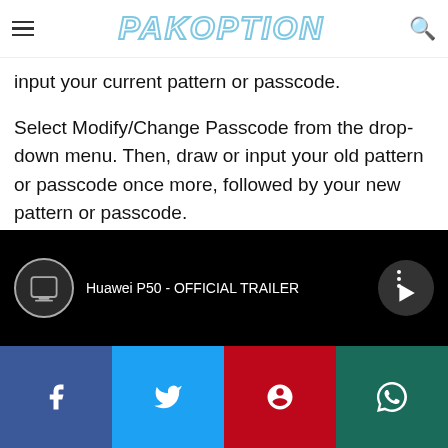PAKOPTION
input your current pattern or passcode.
Select Modify/Change Passcode from the drop-down menu. Then, draw or input your old pattern or passcode once more, followed by your new pattern or passcode.
[Figure (screenshot): YouTube-style video thumbnail showing 'Huawei P50 - OFFICIAL TRAILER' with a tablet icon and play button on black background]
[Figure (infographic): Social media share bar with Facebook, Twitter, Pinterest, and WhatsApp icons]